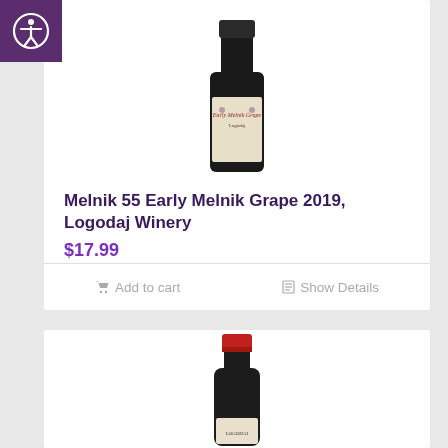[Figure (screenshot): Accessibility icon - white person in circle on purple background, top left corner]
[Figure (photo): Wine bottle - Melnik 55 Early Melnik Grape 2019, Logodaj Winery, dark bottle with cream label showing grape motifs and red lettering]
Melnik 55 Early Melnik Grape 2019, Logodaj Winery
$17.99
Add to cart
Show Details
[Figure (photo): Wine bottle - dark bottle with red capsule top, partially visible label at bottom, second product listing]